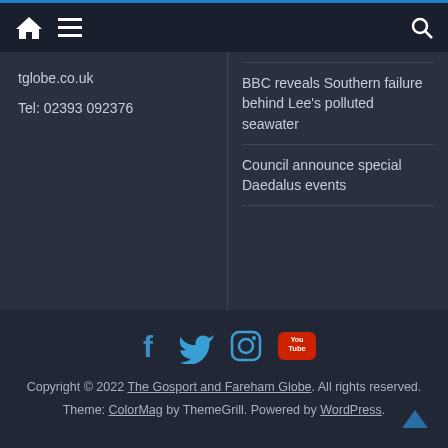Navigation bar with home, menu, and search icons
tglobe.co.uk
Tel: 02393 092376
BBC reveals Southern failure behind Lee's polluted seawater
Council announce special Daedalus events
[Figure (other): Social media icons: Facebook, Twitter, Instagram, YouTube]
Copyright © 2022 The Gosport and Fareham Globe. All rights reserved. Theme: ColorMag by ThemeGrill. Powered by WordPress.